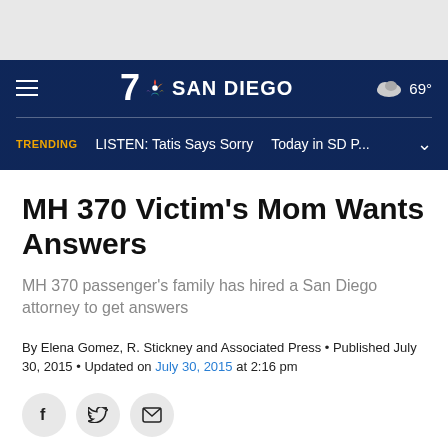7 NBC SAN DIEGO | 69°
TRENDING  LISTEN: Tatis Says Sorry  Today in SD P...
MH 370 Victim's Mom Wants Answers
MH 370 passenger's family has hired a San Diego attorney to get answers
By Elena Gomez, R. Stickney and Associated Press • Published July 30, 2015 • Updated on July 30, 2015 at 2:16 pm